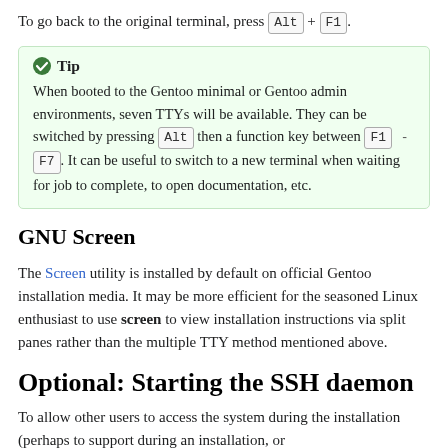To go back to the original terminal, press Alt + F1.
Tip
When booted to the Gentoo minimal or Gentoo admin environments, seven TTYs will be available. They can be switched by pressing Alt then a function key between F1 - F7. It can be useful to switch to a new terminal when waiting for job to complete, to open documentation, etc.
GNU Screen
The Screen utility is installed by default on official Gentoo installation media. It may be more efficient for the seasoned Linux enthusiast to use screen to view installation instructions via split panes rather than the multiple TTY method mentioned above.
Optional: Starting the SSH daemon
To allow other users to access the system during the installation (perhaps to support during an installation, or